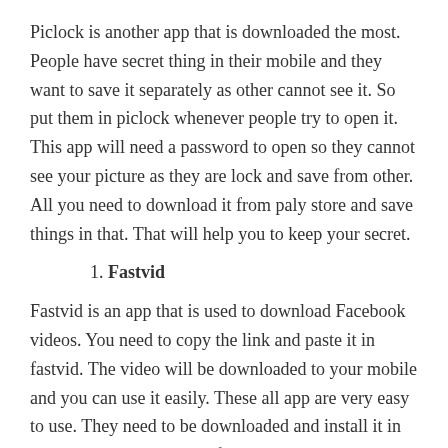Piclock is another app that is downloaded the most. People have secret thing in their mobile and they want to save it separately as other cannot see it. So put them in piclock whenever people try to open it. This app will need a password to open so they cannot see your picture as they are lock and save from other. All you need to download it from paly store and save things in that. That will help you to keep your secret.
1. Fastvid
Fastvid is an app that is used to download Facebook videos. You need to copy the link and paste it in fastvid. The video will be downloaded to your mobile and you can use it easily. These all app are very easy to use. They need to be downloaded and install it in your device and enjoy its feature.